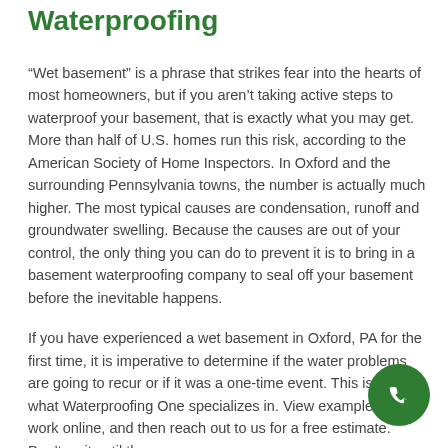Waterproofing
“Wet basement” is a phrase that strikes fear into the hearts of most homeowners, but if you aren’t taking active steps to waterproof your basement, that is exactly what you may get. More than half of U.S. homes run this risk, according to the American Society of Home Inspectors. In Oxford and the surrounding Pennsylvania towns, the number is actually much higher. The most typical causes are condensation, runoff and groundwater swelling. Because the causes are out of your control, the only thing you can do to prevent it is to bring in a basement waterproofing company to seal off your basement before the inevitable happens.
If you have experienced a wet basement in Oxford, PA for the first time, it is imperative to determine if the water problems are going to recur or if it was a one-time event. This is exactly what Waterproofing One specializes in. View examples of our work online, and then reach out to us for a free estimate. Don’t wait until the
[Figure (other): Green circular phone/call button icon in bottom-right corner]